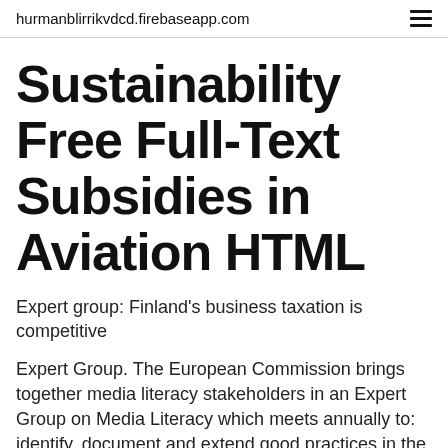hurmanblirrikvdcd.firebaseapp.com
Sustainability Free Full-Text Subsidies in Aviation HTML
Expert group: Finland's business taxation is competitive
Expert Group. The European Commission brings together media literacy stakeholders in an Expert Group on Media Literacy which meets annually to: identify, document and extend good practices in the